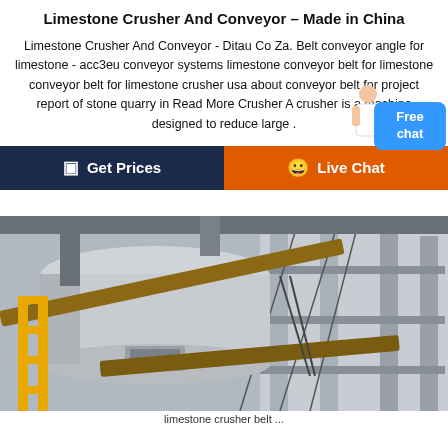Limestone Crusher And Conveyor – Made in China
Limestone Crusher And Conveyor - Ditau Co Za. Belt conveyor angle for limestone - acc3eu conveyor systems limestone conveyor belt for limestone conveyor belt for limestone crusher usa about conveyor belt for project report of stone quarry in Read More Crusher A crusher is a machine designed to reduce large .
[Figure (infographic): Two-button bar: dark navy 'Get Prices' button on the left with calculator icon, and orange 'Live Chat' button on the right with chat icon. A blue 'Free chat' bubble in top-right corner with a person/avatar figure beside it.]
[Figure (photo): Industrial limestone crusher machine inside a large factory building under construction or installation. Large cylindrical crusher unit visible with scaffolding and structural columns in background.]
limestone crusher belt ...